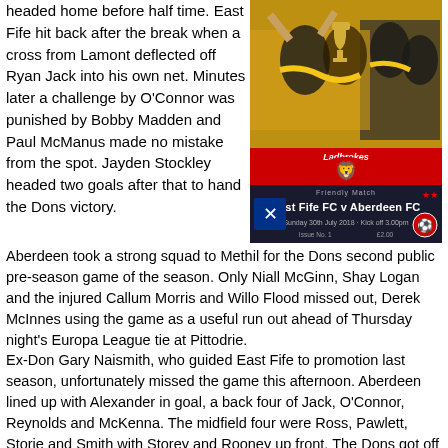headed home before half time. East Fife hit back after the break when a cross from Lamont deflected off Ryan Jack into his own net. Minutes later a challenge by O'Connor was punished by Bobby Madden and Paul McManus made no mistake from the spot. Jayden Stockley headed two goals after that to hand the Dons victory.
[Figure (photo): Photo of Aberdeen FC players celebrating with a trophy, wearing black and yellow scarves and suits. Below the photo is a match programme cover for East Fife FC v Aberdeen FC, Friendly Match, Sunday 30th July 2018.]
Aberdeen took a strong squad to Methil for the Dons second public pre-season game of the season. Only Niall McGinn, Shay Logan and the injured Callum Morris and Willo Flood missed out, Derek McInnes using the game as a useful run out ahead of Thursday night's Europa League tie at Pittodrie.
Ex-Don Gary Naismith, who guided East Fife to promotion last season, unfortunately missed the game this afternoon. Aberdeen lined up with Alexander in goal, a back four of Jack, O'Connor, Reynolds and McKenna. The midfield four were Ross, Pawlett, Storie and Smith with Storey and Rooney up front. The Dons got off to a great start when Frank Ross laid the ball back to Ryan Jack and the skipper produced a great cross from the right which was headed home by Adam Rooney inside the six-yard box. It was a neat header from Adam who just guided the ball into the corner. In the sixth minute, Aberdeen won their first corner which Frank Ross took. He put over a good ball but East Fife keeper William Muir punched clear. A minute later, the Dons won another corner which Pawlett swung in from the other side but again the home